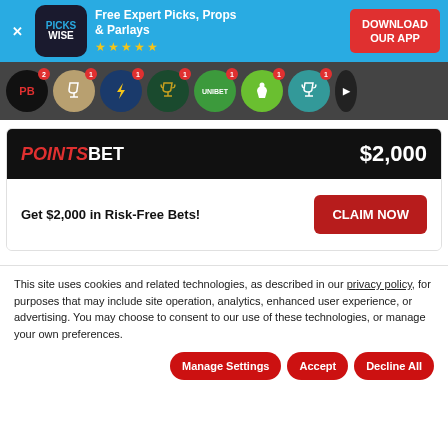[Figure (infographic): Pickswise app download banner ad with logo, Free Expert Picks Props & Parlays text, 5 star rating, and DOWNLOAD OUR APP button]
[Figure (infographic): Row of sportsbook logo icon circles with notification badges]
[Figure (infographic): PointsBet promotion card showing $2,000 offer header and Get $2,000 in Risk-Free Bets with CLAIM NOW button]
This site uses cookies and related technologies, as described in our privacy policy, for purposes that may include site operation, analytics, enhanced user experience, or advertising. You may choose to consent to our use of these technologies, or manage your own preferences.
Manage Settings | Accept | Decline All